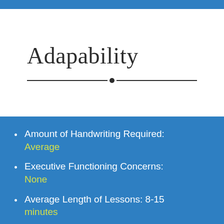Adapability
Amount of Handwriting Required: Average
Executive Functioning Concerns: None
Average Length of Lessons: 8-15 minutes